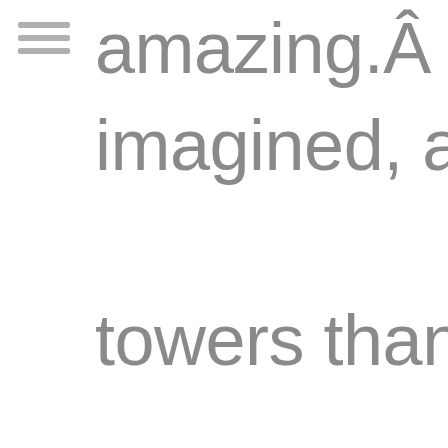amazing.Â  It wa imagined, and th towers than I hac stretched out intc far as the eye cou was not very crov time cracking jok